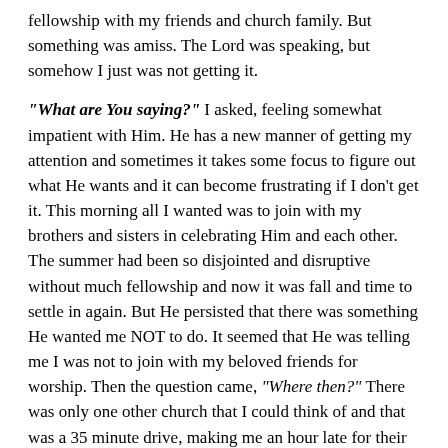fellowship with my friends and church family. But something was amiss. The Lord was speaking, but somehow I just was not getting it.
“What are You saying?” I asked, feeling somewhat impatient with Him. He has a new manner of getting my attention and sometimes it takes some focus to figure out what He wants and it can become frustrating if I don’t get it. This morning all I wanted was to join with my brothers and sisters in celebrating Him and each other. The summer had been so disjointed and disruptive without much fellowship and now it was fall and time to settle in again. But He persisted that there was something He wanted me NOT to do. It seemed that He was telling me I was not to join with my beloved friends for worship. Then the question came, “Where then?” There was only one other church that I could think of and that was a 35 minute drive, making me an hour late for their service. I headed out, feeling disgruntled and complaining that I had better have heard Him right or I would be a mess all week.